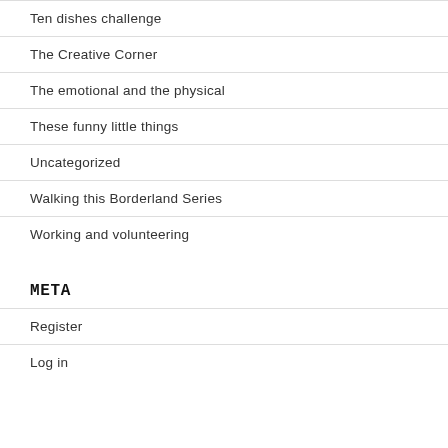Ten dishes challenge
The Creative Corner
The emotional and the physical
These funny little things
Uncategorized
Walking this Borderland Series
Working and volunteering
META
Register
Log in